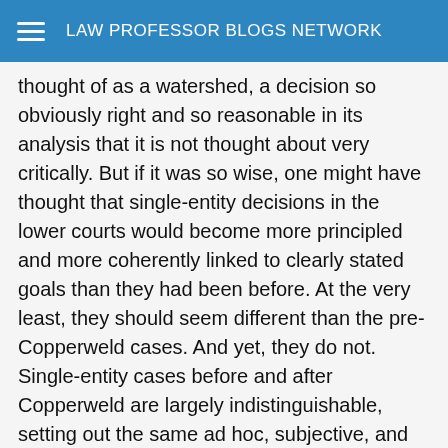LAW PROFESSOR BLOGS NETWORK
thought of as a watershed, a decision so obviously right and so reasonable in its analysis that it is not thought about very critically. But if it was so wise, one might have thought that single-entity decisions in the lower courts would become more principled and more coherently linked to clearly stated goals than they had been before. At the very least, they should seem different than the pre-Copperweld cases. And yet, they do not. Single-entity cases before and after Copperweld are largely indistinguishable, setting out the same ad hoc, subjective, and usually pretty shallow reasoning, with no obvious connection drawn to specified goals. The paper takes this fact as evidence that engaging in this sort of complex institutional analysis at such an early stage -- often enough at some point of early summary disposal, with little or